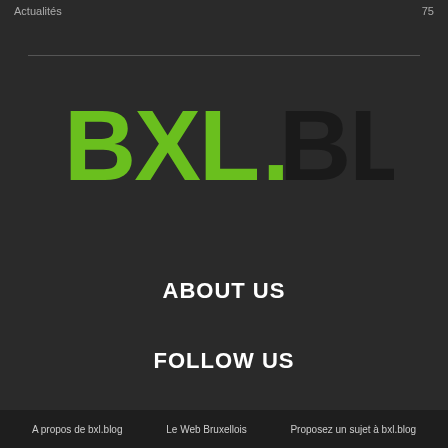Actualités  75
[Figure (logo): BXL.BLOG logo with BXL in green and .BLOG in dark/black on dark background]
ABOUT US
FOLLOW US
A propos de bxl.blog   Le Web Bruxellois   Proposez un sujet à bxl.blog